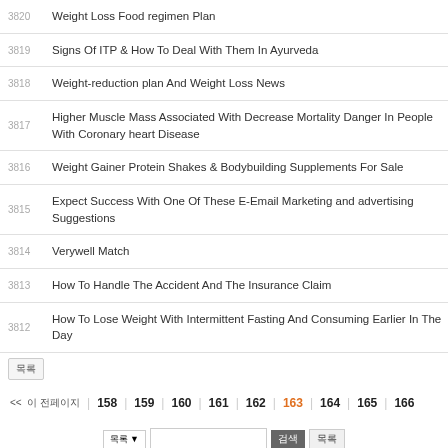| # | Title |
| --- | --- |
| 3820 | Weight Loss Food regimen Plan |
| 3819 | Signs Of ITP & How To Deal With Them In Ayurveda |
| 3818 | Weight-reduction plan And Weight Loss News |
| 3817 | Higher Muscle Mass Associated With Decrease Mortality Danger In People With Coronary heart Disease |
| 3816 | Weight Gainer Protein Shakes & Bodybuilding Supplements For Sale |
| 3815 | Expect Success With One Of These E-Email Marketing and advertising Suggestions |
| 3814 | Verywell Match |
| 3813 | How To Handle The Accident And The Insurance Claim |
| 3812 | How To Lose Weight With Intermittent Fasting And Consuming Earlier In The Day |
Pagination: << 이전페이지 | 158 | 159 | 160 | 161 | 162 | 163 (active) | 164 | 165 | 166